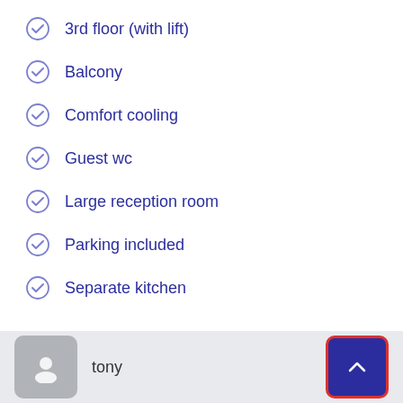3rd floor (with lift)
Balcony
Comfort cooling
Guest wc
Large reception room
Parking included
Separate kitchen
tony